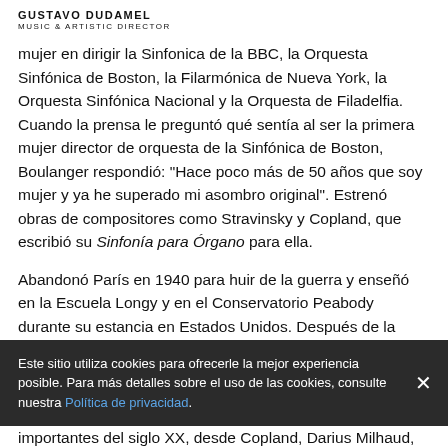GUSTAVO DUDAMEL
MUSIC & ARTISTIC DIRECTOR
mujer en dirigir la Sinfonica de la BBC, la Orquesta Sinfónica de Boston, la Filarmónica de Nueva York, la Orquesta Sinfónica Nacional y la Orquesta de Filadelfia. Cuando la prensa le preguntó qué sentía al ser la primera mujer director de orquesta de la Sinfónica de Boston, Boulanger respondió: "Hace poco más de 50 años que soy mujer y ya he superado mi asombro original". Estrenó obras de compositores como Stravinsky y Copland, que escribió su Sinfonía para Órgano para ella.
Abandonó París en 1940 para huir de la guerra y enseñó en la Escuela Longy y en el Conservatorio Peabody durante su estancia en Estados Unidos. Después de la guerra, se convirtió en directora de la academia de verano Fontainebleau, donde compositores de todo el
Este sitio utiliza cookies para ofrecerle la mejor experiencia posible. Para más detalles sobre el uso de las cookies, consulte nuestra Política de privacidad.
importantes del siglo XX, desde Copland, Darius Milhaud,